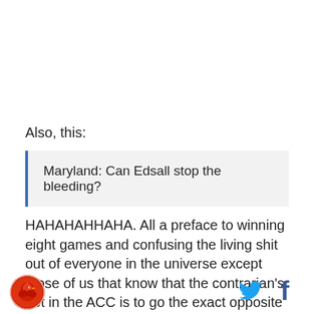Also, this:
Maryland: Can Edsall stop the bleeding?
HAHAHAHHAHA. All a preface to winning eight games and confusing the living shit out of everyone in the universe except those of us that know that the contrarian's bet in the ACC is to go the exact opposite of everyone else with some regard for the general &
[Figure (logo): Sports website circular logo with red/orange bird illustration]
[Figure (logo): Twitter bird icon in blue]
[Figure (logo): Facebook 'f' icon in dark blue]